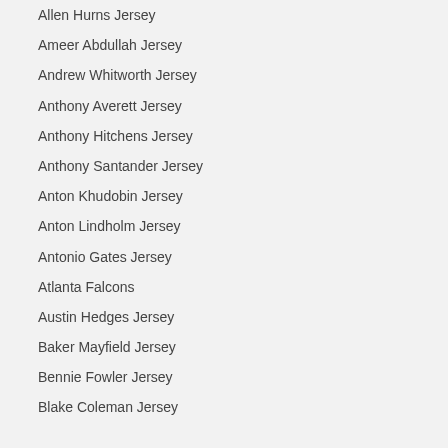Allen Hurns Jersey
Ameer Abdullah Jersey
Andrew Whitworth Jersey
Anthony Averett Jersey
Anthony Hitchens Jersey
Anthony Santander Jersey
Anton Khudobin Jersey
Anton Lindholm Jersey
Antonio Gates Jersey
Atlanta Falcons
Austin Hedges Jersey
Baker Mayfield Jersey
Bennie Fowler Jersey
Blake Coleman Jersey